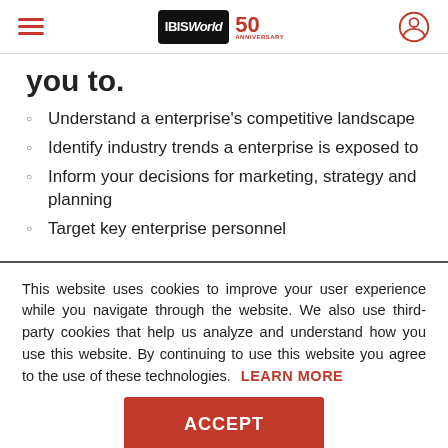IBISWorld 50th Anniversary
you to.
Understand a enterprise's competitive landscape
Identify industry trends a enterprise is exposed to
Inform your decisions for marketing, strategy and planning
Target key enterprise personnel
This website uses cookies to improve your user experience while you navigate through the website. We also use third-party cookies that help us analyze and understand how you use this website. By continuing to use this website you agree to the use of these technologies. LEARN MORE
ACCEPT